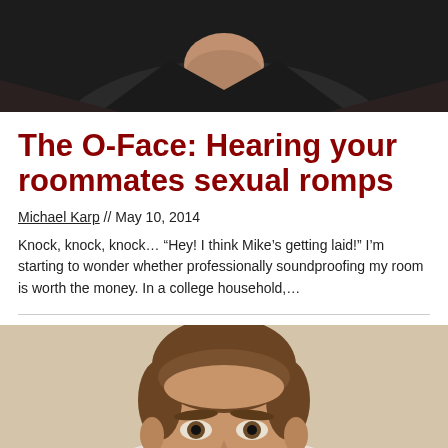[Figure (photo): Top portion of a person's head and shoulders, wearing a dark jacket and black t-shirt, cropped at the chin]
The O-Face: Hearing your roommates sexual romps
Michael Karp // May 10, 2014
Knock, knock, knock… "Hey! I think Mike's getting laid!" I'm starting to wonder whether professionally soundproofing my room is worth the money. In a college household,...
[Figure (photo): Portrait photo of a young man with brown hair, looking directly at the camera, cropped from chest up]